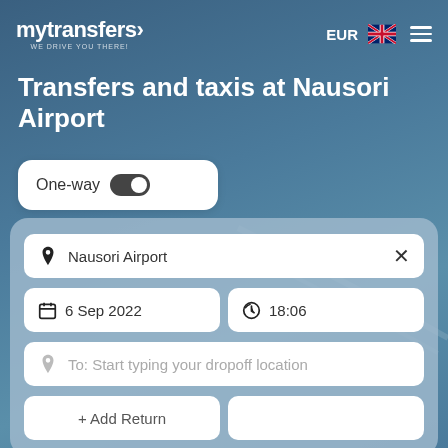mytransfers> EUR [UK flag] [menu]
Transfers and taxis at Nausori Airport
[Figure (screenshot): One-way toggle switch (enabled/dark)]
[Figure (screenshot): Search form panel with: location input 'Nausori Airport', date '6 Sep 2022', time '18:06', dropoff placeholder 'To: Start typing your dropoff location', and '+ Add Return' button]
Nausori Airport
6 Sep 2022
18:06
To: Start typing your dropoff location
+ Add Return